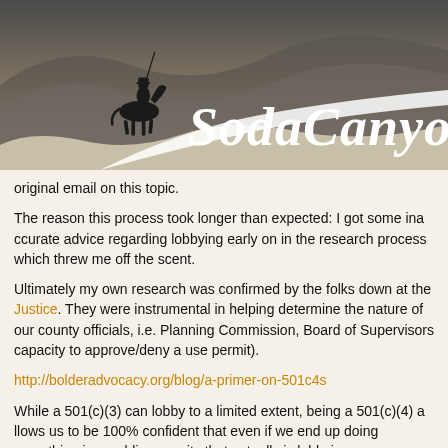[Figure (logo): SodaCanyonRoad website banner header with silhouette of horseback rider and rolling hills, text reads 'SodaCanyonRo...']
original email on this topic.
The reason this process took longer than expected: I got some inaccurate advice regarding lobbying early on in the research process which threw me off the scent.
Ultimately my own research was confirmed by the folks down at the [Bolder Advocacy / Justice]. They were instrumental in helping determine the nature of our county officials, i.e. Planning Commission, Board of Supervisors capacity to approve/deny a use permit).
http://bolderadvocacy.org/blog/a-primer-on-501c4s
While a 501(c)(3) can lobby to a limited extent, being a 501(c)(4) allows us to be 100% confident that even if we end up doing something in a public capacity that actually is lobbying we are clearly permitted to do so and without limit. So hypothetically, if someone wanted to try to "yank our chain" on this issue, there's not much they could really say about it.